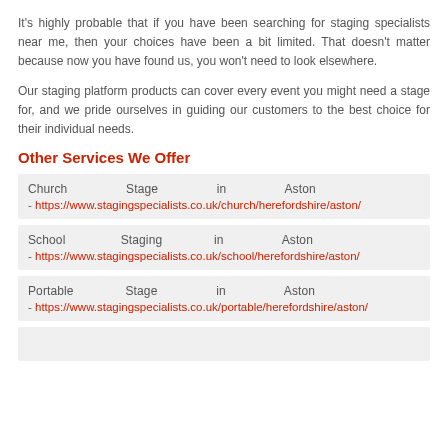It's highly probable that if you have been searching for staging specialists near me, then your choices have been a bit limited. That doesn't matter because now you have found us, you won't need to look elsewhere.
Our staging platform products can cover every event you might need a stage for, and we pride ourselves in guiding our customers to the best choice for their individual needs.
Other Services We Offer
Church Stage in Aston - https://www.stagingspecialists.co.uk/church/herefordshire/aston/
School Staging in Aston - https://www.stagingspecialists.co.uk/school/herefordshire/aston/
Portable Stage in Aston - https://www.stagingspecialists.co.uk/portable/herefordshire/aston/